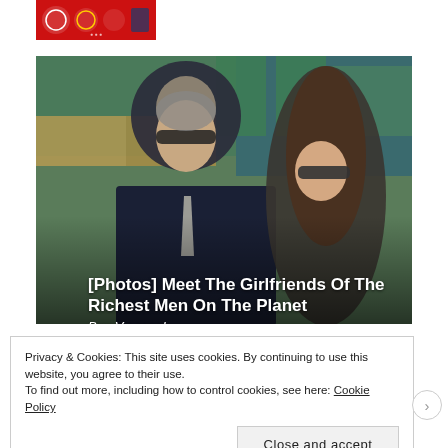[Figure (photo): Small red thumbnail image with military/badge icons at top left]
[Figure (photo): Two people sitting in stadium seats: an older man in a dark suit with sunglasses looking to the side, and a younger woman with long brown hair wearing sunglasses. Likely at a tennis event. Overlay text reads '[Photos] Meet The Girlfriends Of The Richest Men On The Planet' and 'Bon Voyaged'.]
[Photos] Meet The Girlfriends Of The Richest Men On The Planet
Bon Voyaged
Privacy & Cookies: This site uses cookies. By continuing to use this website, you agree to their use.
To find out more, including how to control cookies, see here: Cookie Policy
Close and accept